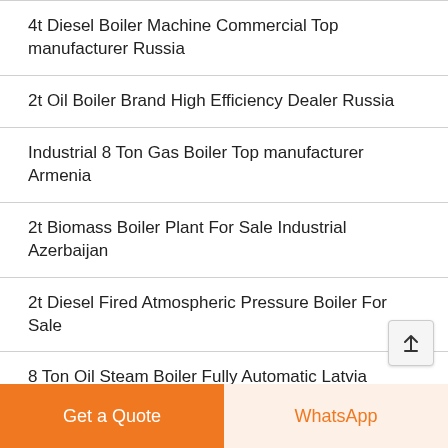4t Diesel Boiler Machine Commercial Top manufacturer Russia
2t Oil Boiler Brand High Efficiency Dealer Russia
Industrial 8 Ton Gas Boiler Top manufacturer Armenia
2t Biomass Boiler Plant For Sale Industrial Azerbaijan
2t Diesel Fired Atmospheric Pressure Boiler For Sale
8 Ton Oil Steam Boiler Fully Automatic Latvia
6t Natural Gas Atmospheric Pressure Steam Boiler Latvia
10 Ton Diesel Boiler Plant Dealer Commercial…